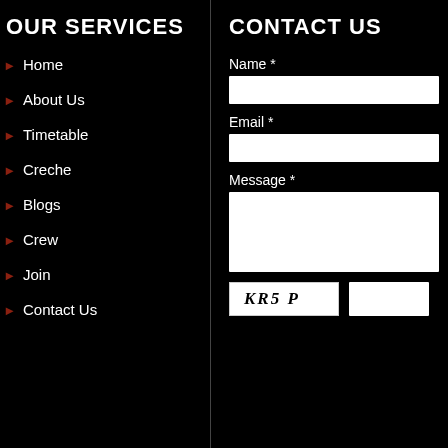OUR SERVICES
Home
About Us
Timetable
Creche
Blogs
Crew
Join
Contact Us
CONTACT US
Name *
Email *
Message *
[Figure (other): CAPTCHA image showing text: KR5 P]